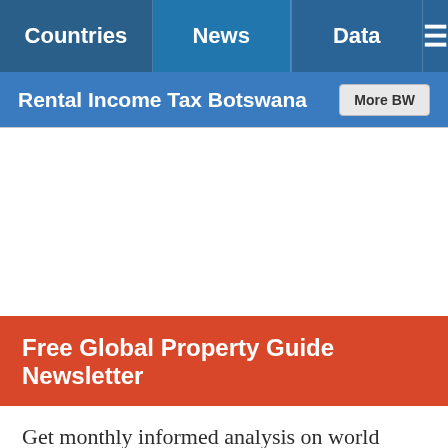Countries | News | Data | ☰
Rental Income Tax Botswana
Free Global Property Guide Newsletter
Get monthly informed analysis on world property markets and exclusive, early access to investment